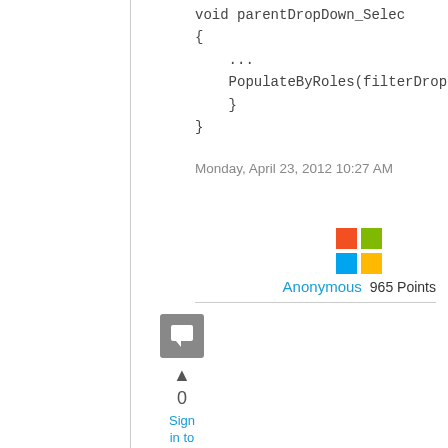void parentDropDown_Selec
{
    ...
    PopulateByRoles(filterDrop
    }
}
Monday, April 23, 2012 10:27 AM
[Figure (logo): Microsoft logo (four colored squares: red, green, blue, yellow)]
Anonymous   965 Points
0
Sign in to